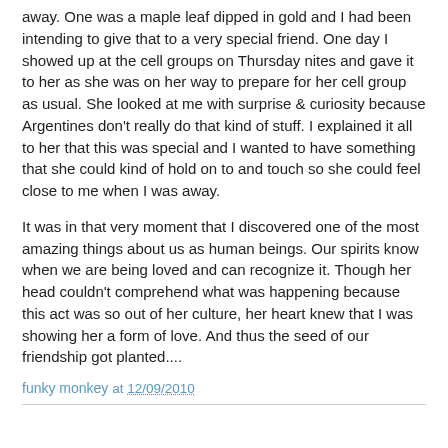away. One was a maple leaf dipped in gold and I had been intending to give that to a very special friend. One day I showed up at the cell groups on Thursday nites and gave it to her as she was on her way to prepare for her cell group as usual. She looked at me with surprise & curiosity because Argentines don't really do that kind of stuff. I explained it all to her that this was special and I wanted to have something that she could kind of hold on to and touch so she could feel close to me when I was away.
It was in that very moment that I discovered one of the most amazing things about us as human beings. Our spirits know when we are being loved and can recognize it. Though her head couldn't comprehend what was happening because this act was so out of her culture, her heart knew that I was showing her a form of love. And thus the seed of our friendship got planted....
funky monkey at 12/09/2010